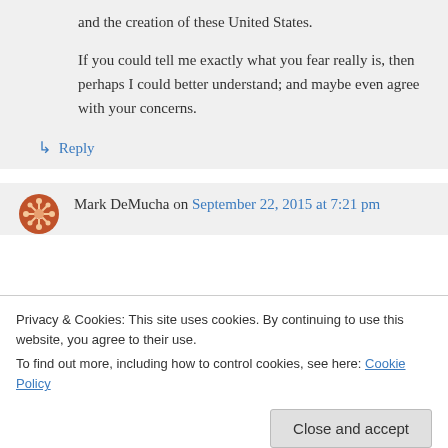and the creation of these United States.
If you could tell me exactly what you fear really is, then perhaps I could better understand; and maybe even agree with your concerns.
↳ Reply
Mark DeMucha on September 22, 2015 at 7:21 pm
Privacy & Cookies: This site uses cookies. By continuing to use this website, you agree to their use.
To find out more, including how to control cookies, see here: Cookie Policy
Close and accept
be verifiable descendants of Cherokee